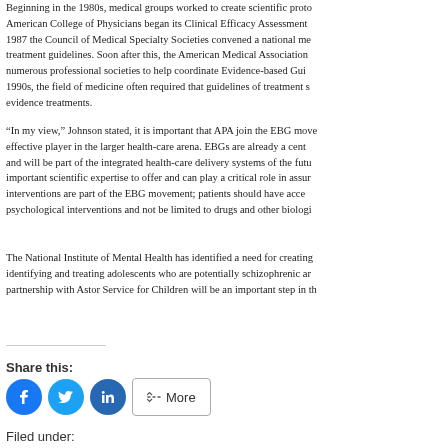Beginning in the 1980s, medical groups worked to create scientific protocols. The American College of Physicians began its Clinical Efficacy Assessment project. In 1987 the Council of Medical Specialty Societies convened a national meeting on treatment guidelines. Soon after this, the American Medical Association worked with numerous professional societies to help coordinate Evidence-based Guidelines. By the 1990s, the field of medicine often required that guidelines of treatment support evidence treatments.
“In my view,” Johnson stated, it is important that APA join the EBG movement to be an effective player in the larger health-care arena. EBGs are already a central part of medicine and will be part of the integrated health-care delivery systems of the future. APA has important scientific expertise to offer and can play a critical role in assuring that psychological interventions are part of the EBG movement; patients should have access to psychological interventions and not be limited to drugs and other biological interventions.
The National Institute of Mental Health has identified a need for creating guidelines for identifying and treating adolescents who are potentially schizophrenic and our new partnership with Astor Service for Children will be an important step in this direction.
Share this:
[Figure (infographic): Social share buttons: Facebook (blue circle), Twitter (blue circle), LinkedIn (blue circle), More (outlined button)]
Filed under:
Adolescence
Counseling
Group Psychotherapy
Individuals with Special Needs
Mental Health Training
News
Psychopharmacology
Psychotherapy